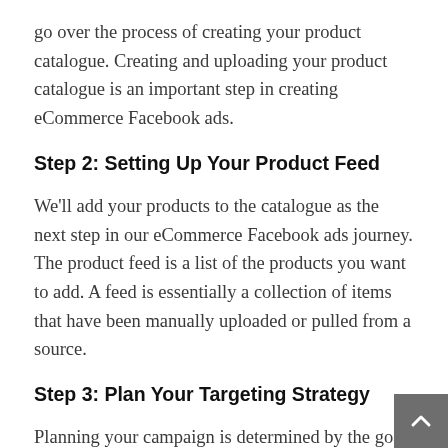go over the process of creating your product catalogue. Creating and uploading your product catalogue is an important step in creating eCommerce Facebook ads.
Step 2: Setting Up Your Product Feed
We'll add your products to the catalogue as the next step in our eCommerce Facebook ads journey. The product feed is a list of the products you want to add. A feed is essentially a collection of items that have been manually uploaded or pulled from a source.
Step 3: Plan Your Targeting Strategy
Planning your campaign is determined by the goal you want to achieve with your eCommerce Facebook ads. When it comes to deciding who to target, what